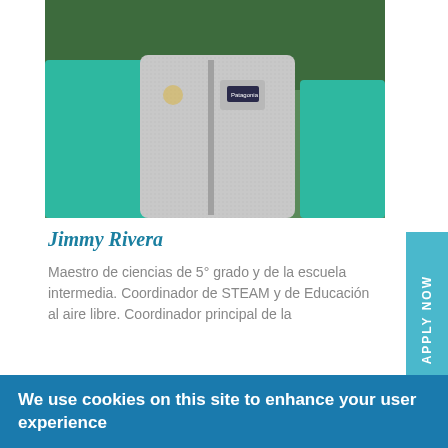[Figure (photo): Photo of Jimmy Rivera wearing a gray Patagonia vest over a teal shirt, outdoors with green background]
Jimmy Rivera
Maestro de ciencias de 5° grado y de la escuela intermedia. Coordinador de STEAM y de Educación al aire libre. Coordinador principal de la
We use cookies on this site to enhance your user experience
By clicking any link on this page you are giving your consent for us to set cookies. More info